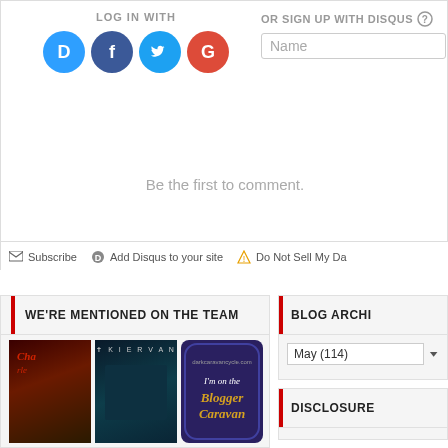LOG IN WITH
[Figure (screenshot): Social login icons: Disqus (blue circle D), Facebook (dark blue circle F), Twitter (light blue circle bird), Google (red circle G)]
OR SIGN UP WITH DISQUS
Name
Be the first to comment.
Subscribe   Add Disqus to your site   Do Not Sell My Da
WE'RE MENTIONED ON THE TEAM
[Figure (photo): Book covers and blogger caravan badge]
BLOG ARCHI
May (114)
DISCLOSURE